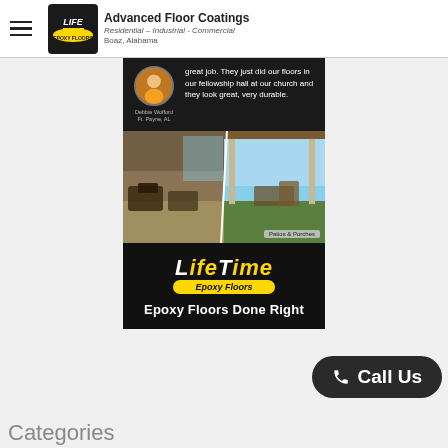Advanced Floor Coatings | Residential - Industrial - Commercial | Boaz, Alabama
[Figure (screenshot): Review snippet showing a woman named Debbie Wofford from Ft. Payne, AL with review text about floors in a fellowship hall. Below is a split photo of patios and porches. Below that is the LifeTime Epoxy Floors logo with tagline 'Epoxy Floors Done Right' on a black background.]
Call Us
Categories